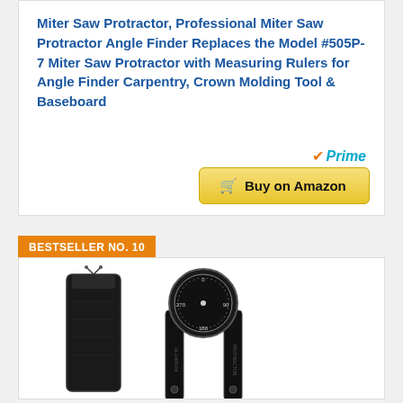Miter Saw Protractor, Professional Miter Saw Protractor Angle Finder Replaces the Model #505P-7 Miter Saw Protractor with Measuring Rulers for Angle Finder Carpentry, Crown Molding Tool & Baseboard
[Figure (other): Amazon Prime logo with checkmark and Buy on Amazon button]
BESTSELLER NO. 10
[Figure (photo): Product photo showing a black aluminum angle finder/miter saw protractor with a circular dial and two arms, alongside a black drawstring pouch carrying case, on a white background.]